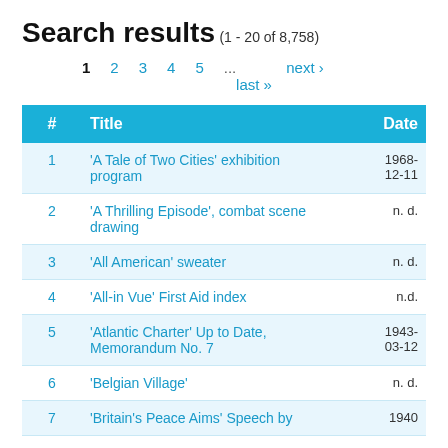Search results
(1 - 20 of 8,758)
1  2  3  4  5  ...  next ›  last »
| # | Title | Date |
| --- | --- | --- |
| 1 | 'A Tale of Two Cities' exhibition program | 1968-12-11 |
| 2 | 'A Thrilling Episode', combat scene drawing | n. d. |
| 3 | 'All American' sweater | n. d. |
| 4 | 'All-in Vue' First Aid index | n.d. |
| 5 | 'Atlantic Charter' Up to Date, Memorandum No. 7 | 1943-03-12 |
| 6 | 'Belgian Village' | n. d. |
| 7 | 'Britain's Peace Aims' Speech by | 1940 |